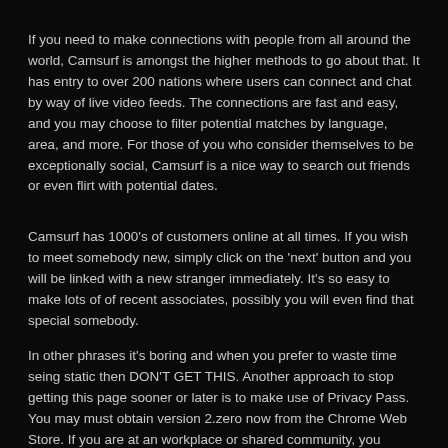If you need to make connections with people from all around the world, Camsurf is amongst the higher methods to go about that. It has entry to over 200 nations where users can connect and chat by way of live video feeds. The connections are fast and easy, and you may choose to filter potential matches by language, area, and more. For those of you who consider themselves to be exceptionally social, Camsurf is a nice way to search out friends or even flirt with potential dates.
Camsurf has 1000's of customers online at all times. If you wish to meet somebody new, simply click on the 'next' button and you will be linked with a new stranger immediately. It's so easy to make lots of of recent associates, possibly you will even find that special somebody.
In other phrases it's boring and when you prefer to waste time seing static then DON'T GET THIS. Another approach to stop getting this page sooner or later is to make use of Privacy Pass. You may must obtain version 2.zero now from the Chrome Web Store. If you are at an workplace or shared community, you probably can ask the